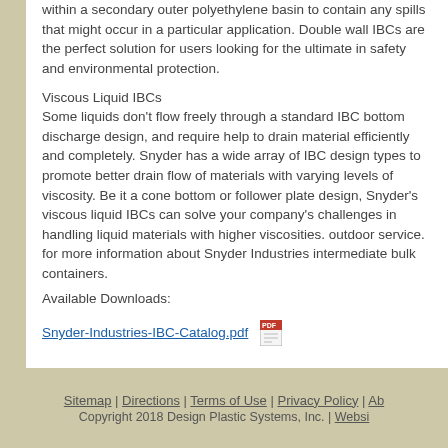within a secondary outer polyethylene basin to contain any spills that might occur in a particular application. Double wall IBCs are the perfect solution for users looking for the ultimate in safety and environmental protection.
Viscous Liquid IBCs
Some liquids don’t flow freely through a standard IBC bottom discharge design, and require help to drain material efficiently and completely. Snyder has a wide array of IBC design types to promote better drain flow of materials with varying levels of viscosity. Be it a cone bottom or follower plate design, Snyder’s viscous liquid IBCs can solve your company’s challenges in handling liquid materials with higher viscosities. outdoor service. for more information about Snyder Industries intermediate bulk containers.
Available Downloads:
Snyder-Industries-IBC-Catalog.pdf
Sitemap | Directions | Terms of Use | Privacy Policy | Ab... Copyright 2018 Design Plastic Systems, Inc. | Websi...